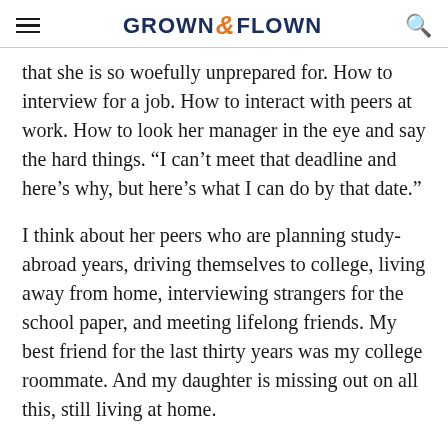GROWN & FLOWN
that she is so woefully unprepared for. How to interview for a job. How to interact with peers at work. How to look her manager in the eye and say the hard things. “I can’t meet that deadline and here’s why, but here’s what I can do by that date.”
I think about her peers who are planning study-abroad years, driving themselves to college, living away from home, interviewing strangers for the school paper, and meeting lifelong friends. My best friend for the last thirty years was my college roommate. And my daughter is missing out on all this, still living at home.
I’m yelling at the seeds again. I’m worrying that the